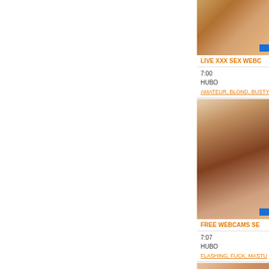[Figure (screenshot): Video thumbnail - webcam content, partial view cropped on right side]
LIVE XXX SEX WEBC...
7:00
HUBO
AMATEUR, BLOND, BUSTY...
[Figure (screenshot): Video thumbnail - webcam content showing adult content, cropped]
FREE WEBCAMS SE...
7:07
HUBO
FLASHING, FUCK, MASTU...
[Figure (screenshot): Video thumbnail - third video, cropped on right side]